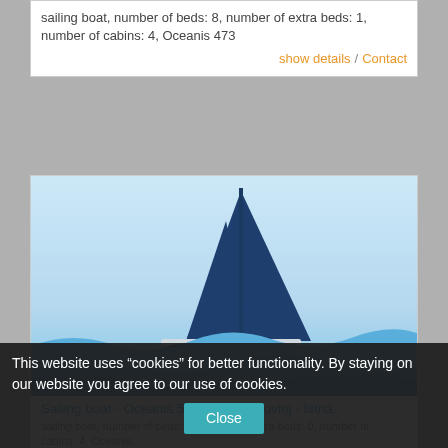sailing boat, number of beds: 8, number of extra beds: 1, number of cabins: 4, Oceanis 473
show details / Contact
[Figure (illustration): Stylized sailing boat illustration with two dark blue sails on blue waves, light blue sky background]
Sailing boat - Oceanis 58 (CBM1) - Rovinj - Istria
sailing boat, number of beds: 8, number of extra beds: 0, number of cabins: 4, Oceanis 58
show details  Contact
This website uses “cookies” for better functionality. By staying on our website you agree to our use of cookies.